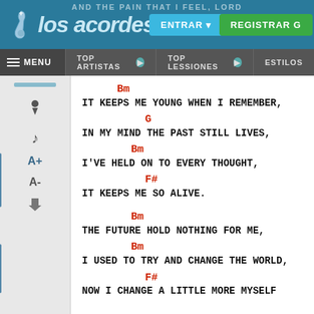los acordes — website header with ENTRAR and REGISTRAR G buttons
MENU | TOP ARTISTAS | TOP LESSIONES | ESTILOS navigation bar
Bm
IT KEEPS ME YOUNG WHEN I REMEMBER,
    G
IN MY MIND THE PAST STILL LIVES,
    Bm
I'VE HELD ON TO EVERY THOUGHT,
        F#
IT KEEPS ME SO ALIVE.
Bm
THE FUTURE HOLD NOTHING FOR ME,
    Bm
I USED TO TRY AND CHANGE THE WORLD
        F#
NOW I CHANGE A LITTLE MORE MYSELF